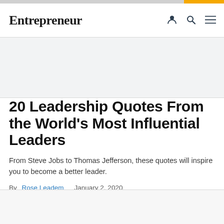Entrepreneur
20 Leadership Quotes From the World's Most Influential Leaders
From Steve Jobs to Thomas Jefferson, these quotes will inspire you to become a better leader.
By Rose Leadem   January 2, 2020